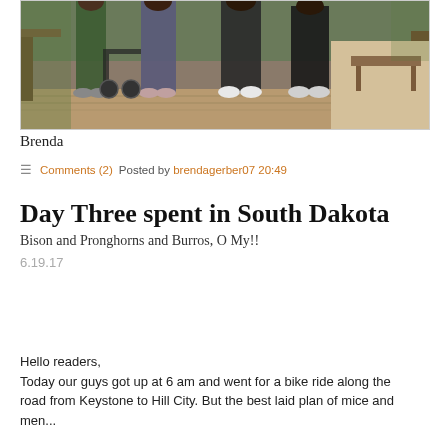[Figure (photo): Group of people standing on a wooden boardwalk/deck surrounded by green vegetation and sandy area. Several people are visible from about the waist down, wearing casual clothing and sneakers.]
Brenda
Comments (2)   Posted by brendagerber07 20:49
Day Three spent in South Dakota
Bison and Pronghorns and Burros, O My!!
6.19.17
Hello readers,
Today our guys got up at 6 am and went for a bike ride along the road from Keystone to Hill City. But the best laid plan of mice and men... the bike off the road and Kim realized that her back had